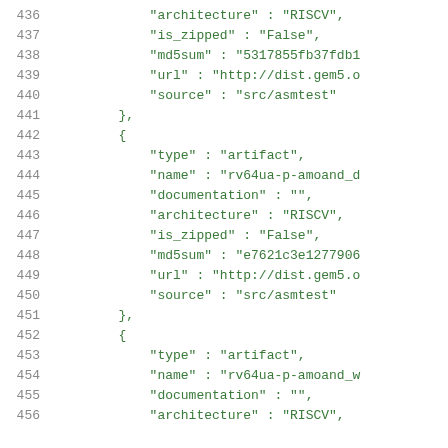436    "architecture" : "RISCV",
437    "is_zipped" : "False",
438    "md5sum" : "5317855fb37fdb1
439    "url" : "http://dist.gem5.o
440    "source" : "src/asmtest"
441    },
442    {
443        "type" : "artifact",
444        "name" : "rv64ua-p-amoand_d
445        "documentation" : "",
446        "architecture" : "RISCV",
447        "is_zipped" : "False",
448        "md5sum" : "e7621c3e1277906
449        "url" : "http://dist.gem5.o
450        "source" : "src/asmtest"
451    },
452    {
453        "type" : "artifact",
454        "name" : "rv64ua-p-amoand_w
455        "documentation" : "",
456        "architecture" : "RISCV",